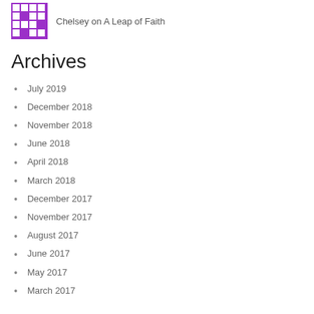[Figure (illustration): Purple and white crossword/puzzle pattern thumbnail image]
Chelsey on A Leap of Faith
Archives
July 2019
December 2018
November 2018
June 2018
April 2018
March 2018
December 2017
November 2017
August 2017
June 2017
May 2017
March 2017